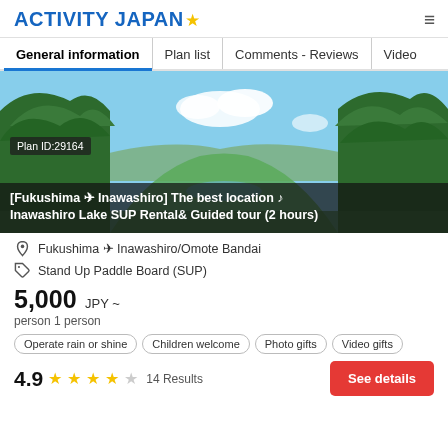Activity Japan
General information | Plan list | Comments - Reviews | Video
[Figure (photo): Scenic nature landscape with green trees and blue sky, showing a view toward a lake or valley through the forest canopy. Plan ID: 29164 badge visible.]
[Fukushima ✈ Inawashiro] The best location ♪ Inawashiro Lake SUP Rental& Guided tour (2 hours)
Fukushima ✈ Inawashiro/Omote Bandai
Stand Up Paddle Board (SUP)
5,000 JPY ~ person 1 person
Operate rain or shine   Children welcome   Photo gifts   Video gifts
4.9 ★★★★☆ 14 Results